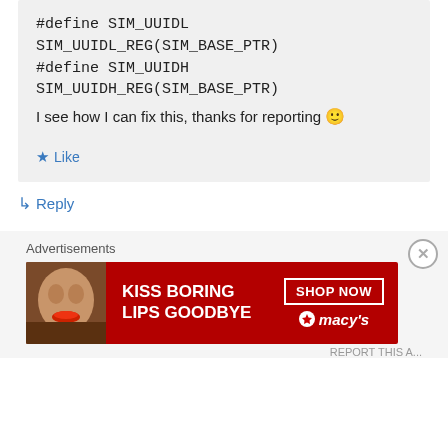#define SIM_UUIDL SIM_UUIDL_REG(SIM_BASE_PTR)
#define SIM_UUIDH SIM_UUIDH_REG(SIM_BASE_PTR)
I see how I can fix this, thanks for reporting 🙂
★ Like
↳ Reply
Advertisements
[Figure (other): Macy's advertisement banner: 'KISS BORING LIPS GOODBYE' with a woman's face showing red lips, SHOP NOW button and Macy's logo with star]